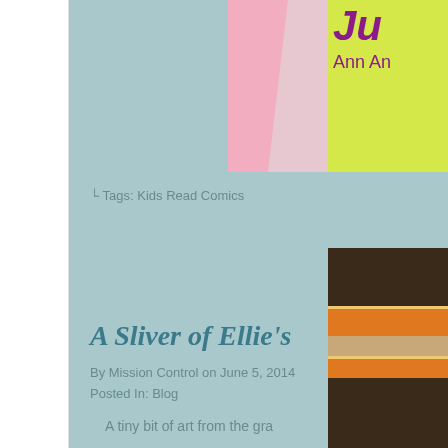[Figure (illustration): Top-right corner showing partial book cover with pink and yellow/green colors, purple text reading 'Ju...' and 'Ann An...']
└ Tags: Kids Read Comics
A Sliver of Ellie's
By Mission Control on June 5, 2014
Posted In: Blog
A tiny bit of art from the gra
[Figure (illustration): Bottom-right corner showing partial image of stacked books with brown, orange and tan colors]